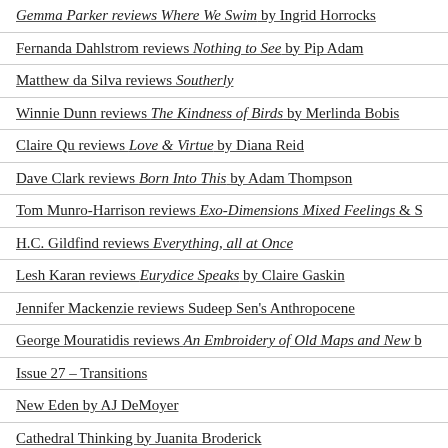Gemma Parker reviews Where We Swim by Ingrid Horrocks
Fernanda Dahlstrom reviews Nothing to See by Pip Adam
Matthew da Silva reviews Southerly
Winnie Dunn reviews The Kindness of Birds by Merlinda Bobis
Claire Qu reviews Love & Virtue by Diana Reid
Dave Clark reviews Born Into This by Adam Thompson
Tom Munro-Harrison reviews Exo-Dimensions Mixed Feelings & S
H.C. Gildfind reviews Everything, all at Once
Lesh Karan reviews Eurydice Speaks by Claire Gaskin
Jennifer Mackenzie reviews Sudeep Sen's Anthropocene
George Mouratidis reviews An Embroidery of Old Maps and New b
Issue 27 – Transitions
New Eden by AJ DeMoyer
Cathedral Thinking by Juanita Broderick